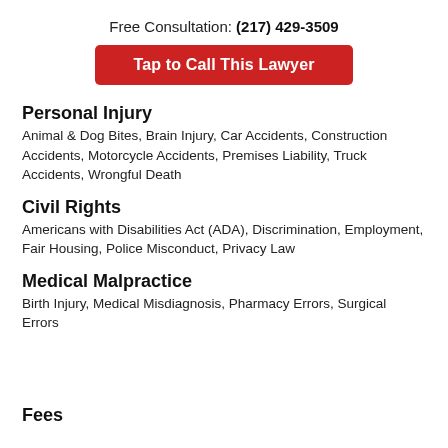Free Consultation: (217) 429-3509
Tap to Call This Lawyer
Personal Injury
Animal & Dog Bites, Brain Injury, Car Accidents, Construction Accidents, Motorcycle Accidents, Premises Liability, Truck Accidents, Wrongful Death
Civil Rights
Americans with Disabilities Act (ADA), Discrimination, Employment, Fair Housing, Police Misconduct, Privacy Law
Medical Malpractice
Birth Injury, Medical Misdiagnosis, Pharmacy Errors, Surgical Errors
Fees